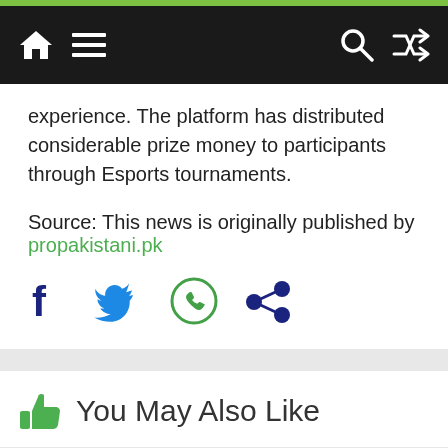Navigation bar with home, menu, search, and shuffle icons
experience. The platform has distributed considerable prize money to participants through Esports tournaments.
Source: This news is originally published by propakistani.pk
[Figure (infographic): Social share icons: Facebook (dark blue f), Twitter (blue bird), WhatsApp (green phone in circle), Share (dark blue dots connected)]
You May Also Like
[Figure (photo): Three blank white card placeholders in a row for 'You May Also Like' section]